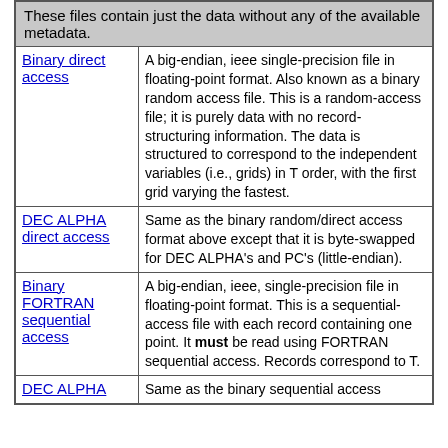| Format | Description |
| --- | --- |
|  | These files contain just the data without any of the available metadata. |
| Binary direct access | A big-endian, ieee single-precision file in floating-point format. Also known as a binary random access file. This is a random-access file; it is purely data with no record-structuring information. The data is structured to correspond to the independent variables (i.e., grids) in T order, with the first grid varying the fastest. |
| DEC ALPHA direct access | Same as the binary random/direct access format above except that it is byte-swapped for DEC ALPHA's and PC's (little-endian). |
| Binary FORTRAN sequential access | A big-endian, ieee, single-precision file in floating-point format. This is a sequential-access file with each record containing one point. It must be read using FORTRAN sequential access. Records correspond to T. |
| DEC ALPHA | Same as the binary sequential access |